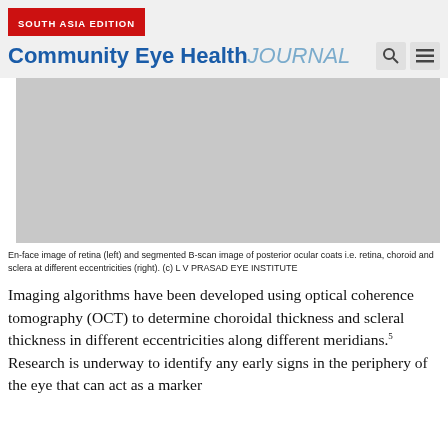SOUTH ASIA EDITION — Community Eye Health JOURNAL
[Figure (photo): En-face image of retina (left) and segmented B-scan image of posterior ocular coats i.e. retina, choroid and sclera at different eccentricities (right). Grey placeholder image representing the photograph.]
En-face image of retina (left) and segmented B-scan image of posterior ocular coats i.e. retina, choroid and sclera at different eccentricities (right). (c) L V PRASAD EYE INSTITUTE
Imaging algorithms have been developed using optical coherence tomography (OCT) to determine choroidal thickness and scleral thickness in different eccentricities along different meridians.5 Research is underway to identify any early signs in the periphery of the eye that can act as a marker